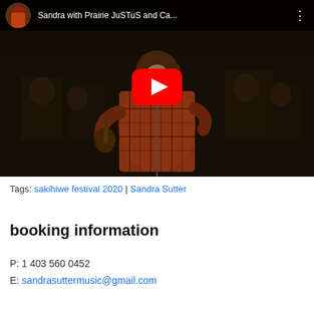[Figure (screenshot): YouTube video thumbnail showing a woman performing on stage with a band behind her, wearing an orange plaid shirt. The YouTube player bar shows the title 'Sandra with Prairie JuSTuS and Ca...' with a circular avatar photo and three-dot menu icon. A red play button is centered on the video.]
Tags: sakihiwe festival 2020 | Sandra Sutter
booking information
P: 1 403 560 0452
E: sandrasuttermusic@gmail.com